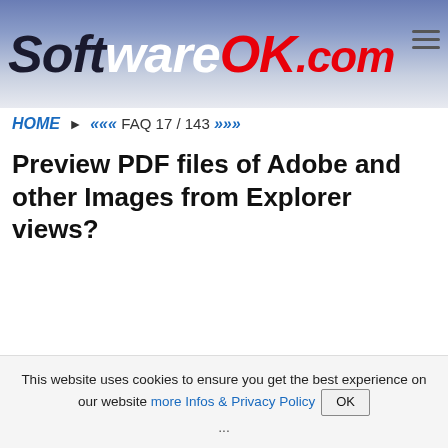[Figure (logo): SoftwareOK.com logo in italic bold text on a blue-grey gradient background banner]
HOME ► ««« FAQ 17 / 143 »»»
Preview PDF files of Adobe and other Images from Explorer views?
This website uses cookies to ensure you get the best experience on our website more Infos & Privacy Policy OK